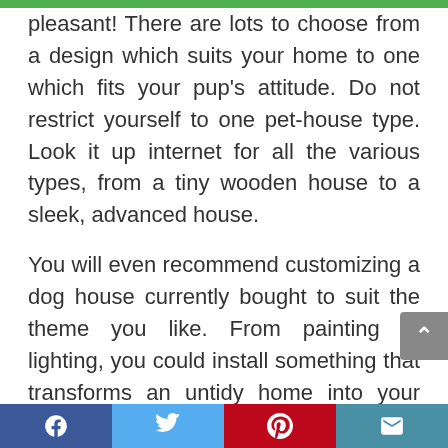pleasant! There are lots to choose from a design which suits your home to one which fits your pup's attitude. Do not restrict yourself to one pet-house type. Look it up internet for all the various types, from a tiny wooden house to a sleek, advanced house.
You will even recommend customizing a dog house currently bought to suit the theme you like. From painting to lighting, you could install something that transforms an untidy home into your dog's dream home. Only please ensure that anything you attach is helpful to the pet, and will not hurt them.
Social share bar with Facebook, Twitter, Pinterest, Email